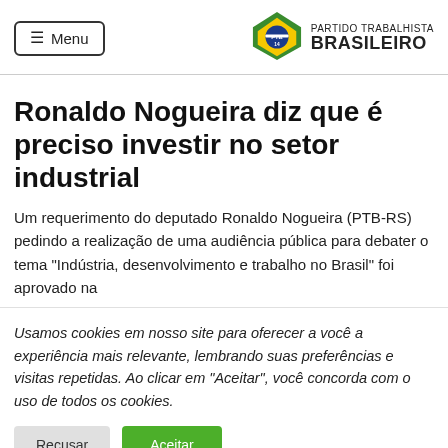Menu | PARTIDO TRABALHISTA BRASILEIRO
Ronaldo Nogueira diz que é preciso investir no setor industrial
Um requerimento do deputado Ronaldo Nogueira (PTB-RS) pedindo a realização de uma audiência pública para debater o tema "Indústria, desenvolvimento e trabalho no Brasil" foi aprovado na
Usamos cookies em nosso site para oferecer a você a experiência mais relevante, lembrando suas preferências e visitas repetidas. Ao clicar em "Aceitar", você concorda com o uso de todos os cookies.
Recusar | Aceitar